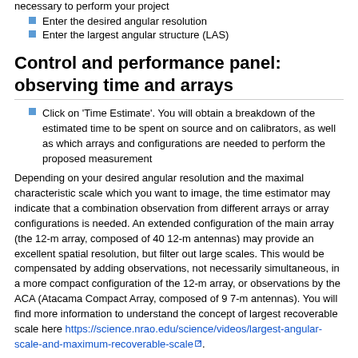necessary to perform your project
Enter the desired angular resolution
Enter the largest angular structure (LAS)
Control and performance panel: observing time and arrays
Click on 'Time Estimate'. You will obtain a breakdown of the estimated time to be spent on source and on calibrators, as well as which arrays and configurations are needed to perform the proposed measurement
Depending on your desired angular resolution and the maximal characteristic scale which you want to image, the time estimator may indicate that a combination observation from different arrays or array configurations is needed. An extended configuration of the main array (the 12-m array, composed of 40 12-m antennas) may provide an excellent spatial resolution, but filter out large scales. This would be compensated by adding observations, not necessarily simultaneous, in a more compact configuration of the 12-m array, or observations by the ACA (Atacama Compact Array, composed of 9 7-m antennas). You will find more information to understand the concept of largest recoverable scale here https://science.nrao.edu/science/videos/largest-angular-scale-and-maximum-recoverable-scale.